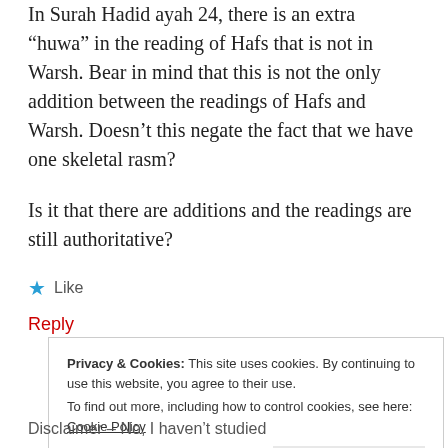In Surah Hadid ayah 24, there is an extra “huwa” in the reading of Hafs that is not in Warsh. Bear in mind that this is not the only addition between the readings of Hafs and Warsh. Doesn’t this negate the fact that we have one skeletal rasm?
Is it that there are additions and the readings are still authoritative?
★ Like
Reply
Privacy & Cookies: This site uses cookies. By continuing to use this website, you agree to their use.
To find out more, including how to control cookies, see here: Cookie Policy
Close and accept
Disclaimer – No, I haven't studied